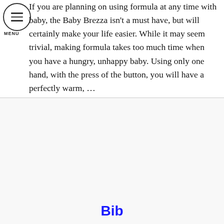If you are planning on using formula at any time with baby, the Baby Brezza isn't a must have, but will certainly make your life easier. While it may seem trivial, making formula takes too much time when you have a hungry, unhappy baby. Using only one hand, with the press of the button, you will have a perfectly warm, …
Bib
[Figure (photo): A baby bib with a cactus pattern on a light gray background, featuring a green trim/border and a keyhole neckline. The bib has a wide, flat shape with cutouts at the bottom corners.]